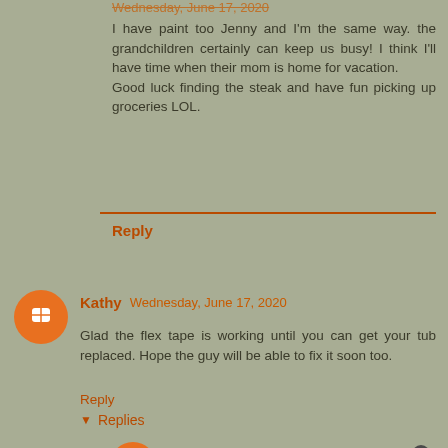Wednesday, June 17, 2020
I have paint too Jenny and I'm the same way. the grandchildren certainly can keep us busy! I think I'll have time when their mom is home for vacation.
Good luck finding the steak and have fun picking up groceries LOL.
Reply
Kathy Wednesday, June 17, 2020
Glad the flex tape is working until you can get your tub replaced. Hope the guy will be able to fix it soon too.
Reply
Replies
Vickie @Vickie's Kitchen and Garden Wednesday, June 17, 2020
We going to put in a call soon.